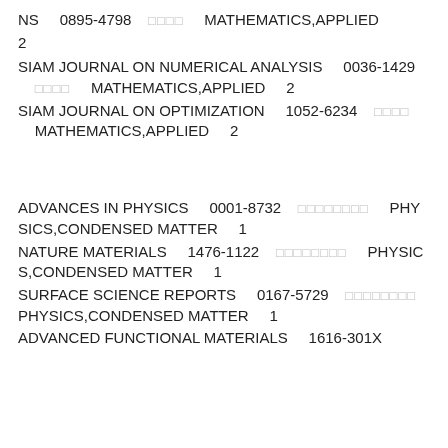NS    0895-4798    □□□□    MATHEMATICS,APPLIED
2
SIAM JOURNAL ON NUMERICAL ANALYSIS    0036-1429    □□□□    MATHEMATICS,APPLIED    2
SIAM JOURNAL ON OPTIMIZATION    1052-6234    □□□□    MATHEMATICS,APPLIED    2
ADVANCES IN PHYSICS    0001-8732    □□□□□□□□    PHYSICS,CONDENSED MATTER    1
NATURE MATERIALS    1476-1122    □□□□□□□□    PHYSICS,CONDENSED MATTER    1
SURFACE SCIENCE REPORTS    0167-5729    □□□□□□□□    PHYSICS,CONDENSED MATTER    1
ADVANCED FUNCTIONAL MATERIALS    1616-301X